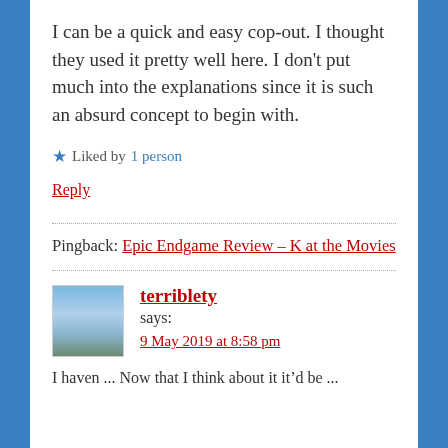I can be a quick and easy cop-out. I thought they used it pretty well here. I don't put much into the explanations since it is such an absurd concept to begin with.
★ Liked by 1 person
Reply
Pingback: Epic Endgame Review – K at the Movies
terriblety says: 9 May 2019 at 8:58 pm